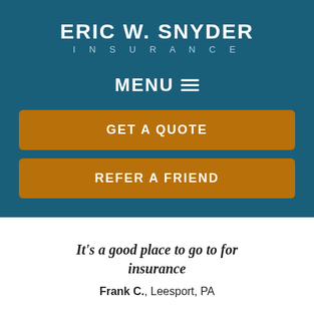ERIC W. SNYDER INSURANCE
MENU ≡
GET A QUOTE
REFER A FRIEND
It's a good place to go to for insurance
Frank C., Leesport, PA